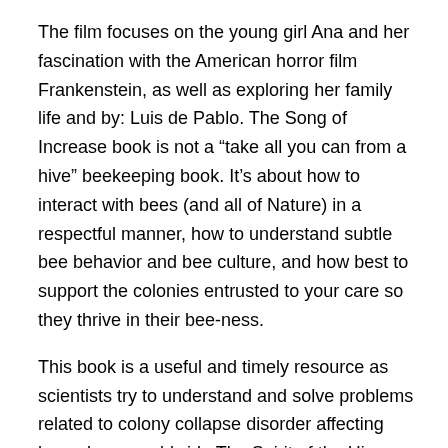The film focuses on the young girl Ana and her fascination with the American horror film Frankenstein, as well as exploring her family life and by: Luis de Pablo. The Song of Increase book is not a “take all you can from a hive” beekeeping book. It’s about how to interact with bees (and all of Nature) in a respectful manner, how to understand subtle bee behavior and bee culture, and how best to support the colonies entrusted to your care so they thrive in their bee-ness.
This book is a useful and timely resource as scientists try to understand and solve problems related to colony collapse disorder affecting honeybees worldwide The Spirit of the Hive takes a novel approach to the study of honeybees and their social order It is a very interesting : Harvard.
Book Description: How bees working in the dark, by instinct alone, construct a honey comb. Synthesizing decades of experiments, The Spirit of the Hive presents the genetic and physiological mechanisms underlying the division of labor in honey bee colonies and explains how it is an inevitable product of group living, evolving over millions of